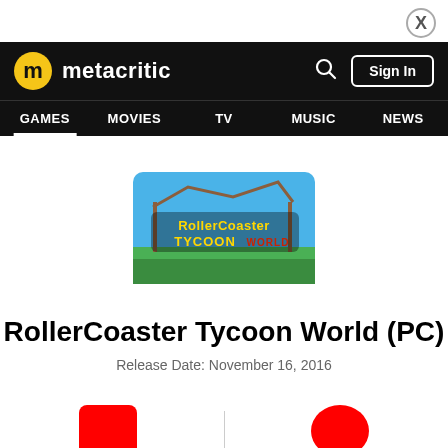X (close button)
metacritic — GAMES | MOVIES | TV | MUSIC | NEWS — Search | Sign In
[Figure (photo): RollerCoaster Tycoon World game cover art — stylized text logo on a colorful background]
RollerCoaster Tycoon World (PC)
Release Date: November 16, 2016
Metascore | User Score